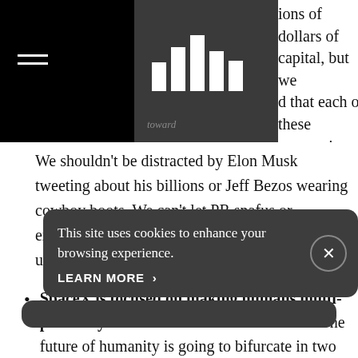billions of dollars of capital, but we found that each of these companies are working toward a better life on earth in their own way.
We shouldn't be distracted by Elon Musk tweeting about his billions or Jeff Bezos wearing cowboy boots. We can't let PR snafus or expensive TV ads prevent us from understanding the true missions of these leaders.
SpaceX is focused on making humans multi-planetary in order to secure our future. "The future of humanity is going to bifurcate in two directions: Either it's going to become multiplanetary, or it's going to remain confined to
This site uses cookies to enhance your browsing experience.
LEARN MORE  >